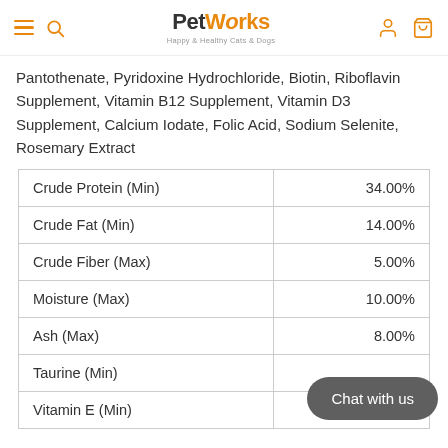PetWorks - Happy & Healthy Cats & Dogs
Pantothenate, Pyridoxine Hydrochloride, Biotin, Riboflavin Supplement, Vitamin B12 Supplement, Vitamin D3 Supplement, Calcium Iodate, Folic Acid, Sodium Selenite, Rosemary Extract
| Nutrient | Amount |
| --- | --- |
| Crude Protein (Min) | 34.00% |
| Crude Fat (Min) | 14.00% |
| Crude Fiber (Max) | 5.00% |
| Moisture (Max) | 10.00% |
| Ash (Max) | 8.00% |
| Taurine (Min) |  |
| Vitamin E (Min) | 350 IU/kg |